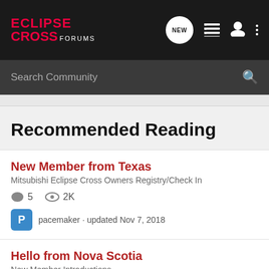ECLIPSE CROSS FORUMS — header with NEW, list, user, and menu icons
Search Community
Recommended Reading
New Member from Texas
Mitsubishi Eclipse Cross Owners Registry/Check In
5 replies · 2K views
pacemaker · updated Nov 7, 2018
Hello from Nova Scotia
New Member Introductions